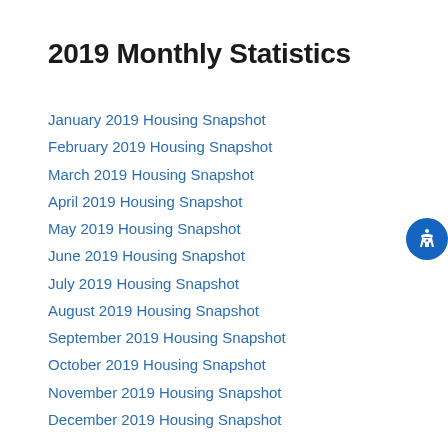2019 Monthly Statistics
January 2019 Housing Snapshot
February 2019 Housing Snapshot
March 2019 Housing Snapshot
April 2019 Housing Snapshot
May 2019 Housing Snapshot
June 2019 Housing Snapshot
July 2019 Housing Snapshot
August 2019 Housing Snapshot
September 2019 Housing Snapshot
October 2019 Housing Snapshot
November 2019 Housing Snapshot
December 2019 Housing Snapshot